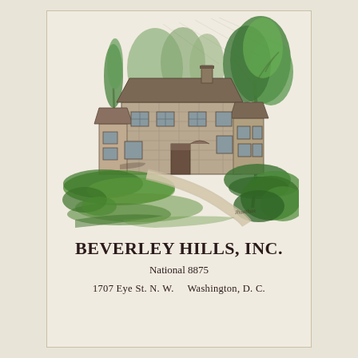[Figure (illustration): Hand-drawn ink and watercolor illustration of a colonial-style stone house with tall trees, green lawn, and a curved driveway leading to the entrance. Green foliage is prominent, with an artist's signature in the lower right corner.]
BEVERLEY HILLS, INC.
National 8875
1707 Eye St. N. W.     Washington, D. C.